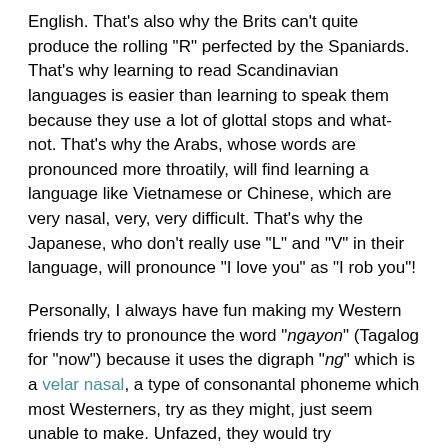English.  That's also why the Brits can't quite produce the rolling "R" perfected by the Spaniards.  That's why learning to read Scandinavian languages is easier than learning to speak them because they use a lot of glottal stops and what-not.  That's why the Arabs, whose words are pronounced more throatily, will find learning a language like Vietnamese or Chinese, which are very nasal, very, very difficult.  That's why the Japanese, who don't really use "L" and "V" in their language, will pronounce "I love you" as "I rob you"!
Personally, I always have fun making my Western friends try to pronounce the word "ngayon" (Tagalog for "now") because it uses the digraph "ng" which is a velar nasal, a type of consonantal phoneme which most Westerners, try as they might, just seem unable to make.  Unfazed, they would try pronouncing the word many times and I would usually end up laughing even though I try not to.  Fortunately, my friends know I'm just having fun.  And to write it in Hungarian, I think they know I'm really juszt amuszed by their szilly attemptsz which yield nothing but erroneousz szoundsz.
Got a question for The Filipino?  Email him now at